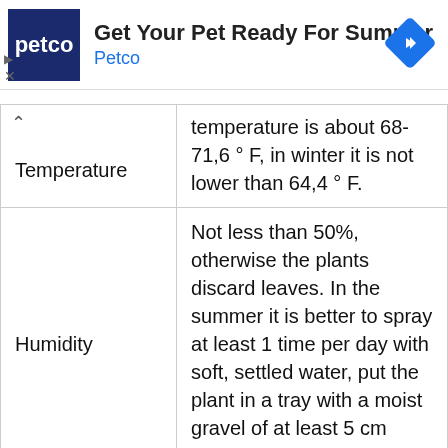[Figure (infographic): Petco advertisement banner with Petco logo (dark blue square with white 'petco' text), title 'Get Your Pet Ready For Summer', subtitle 'Petco', and a blue diamond arrow icon on the right. Small navigation controls (triangle and X) on the lower left.]
| Temperature | temperature is about 68-71,6 ° F, in winter it is not lower than 64,4 ° F. |
| Humidity | Not less than 50%, otherwise the plants discard leaves. In the summer it is better to spray at least 1 time per day with soft, settled water, put the plant in a tray with a moist gravel of at least 5 cm thickness. In... |